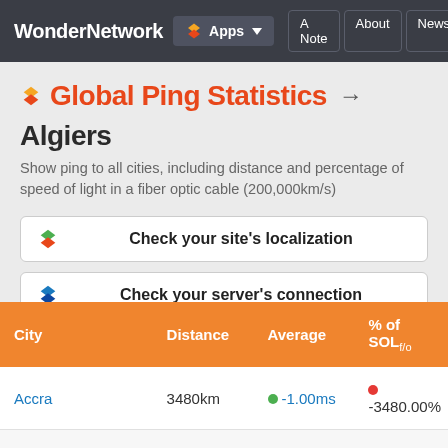WonderNetwork  Apps  A Note  About  News
Global Ping Statistics → Algiers
Show ping to all cities, including distance and percentage of speed of light in a fiber optic cable (200,000km/s)
Check your site's localization
Check your server's connection
| City | Distance | Average | % of SOLf/o |
| --- | --- | --- | --- |
| Accra | 3480km | -1.00ms | -3480.00% |